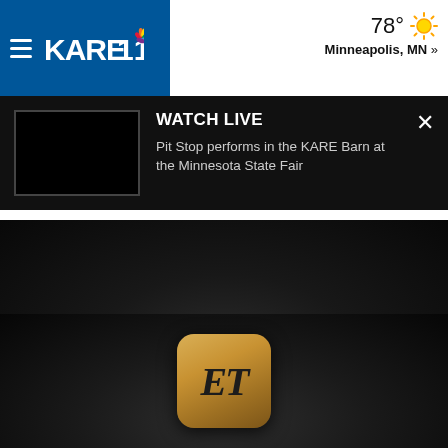[Figure (logo): KARE 11 NBC news station logo on blue background with hamburger menu icon]
78° Minneapolis, MN »
[Figure (screenshot): Watch Live banner on dark background with black video thumbnail placeholder. Text: WATCH LIVE. Pit Stop performs in the KARE Barn at the Minnesota State Fair]
[Figure (logo): Entertainment Tonight (ET) logo — gold rounded square with italic ET letters on dark background]